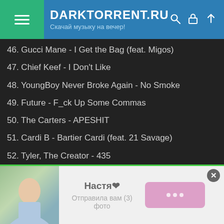DARKTORRENT.RU — Скачай музыку на вечер!
46. Gucci Mane - I Get the Bag (feat. Migos)
47. Chief Keef - I Don't Like
48. YoungBoy Never Broke Again - No Smoke
49. Future - F_ck Up Some Commas
50. The Carters - APESHIT
51. Cardi B - Bartier Cardi (feat. 21 Savage)
52. Tyler, The Creator - 435
53. Kanye West - Mercy
54. Earl Sweatshirt - Hive (feat. Vince Staples & Casey Veggies)
55. Kendrick Lamar - Alright
56. J. Cole - KOD
57. Young M.A - OOOUUU
58. MadeinTYO - Uber Everywhere
[Figure (other): Advertisement banner: photo of a woman, text 'Настя❤ Отправила вам (3) фото', pink button with dots, close button]